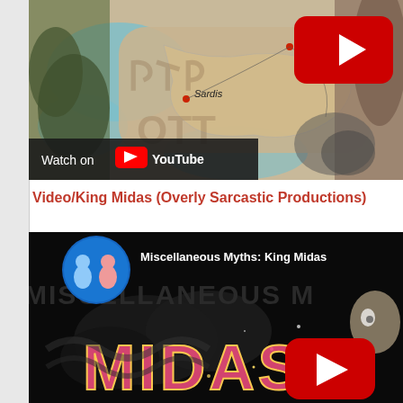[Figure (screenshot): YouTube video thumbnail showing a historical map with Gordion and Sardis labeled, overlaid with ancient Phrygian text and images of rocks and a mushroom/snail. A YouTube play button is visible top right, and a 'Watch on YouTube' bar is at the bottom.]
Video/King Midas (Overly Sarcastic Productions)
[Figure (screenshot): YouTube video thumbnail for 'Miscellaneous Myths: King Midas' by Overly Sarcastic Productions, showing the channel logo and colorful animated King Midas text with sparkles on a dark background. A YouTube play button is visible.]